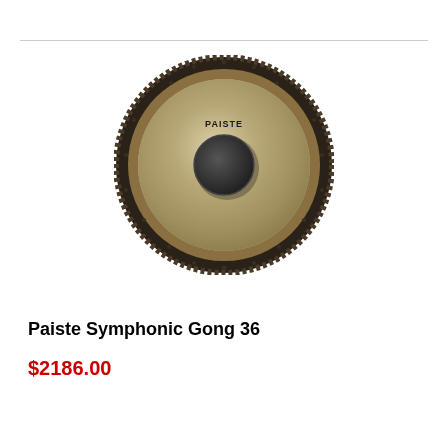[Figure (photo): Paiste Symphonic Gong 36 seen from the front, circular shape with dark textured outer rim, brushed metallic surface, and a dark circular boss in the center. The word PAISTE is visible near the top of the gong face.]
Paiste Symphonic Gong 36
$2186.00